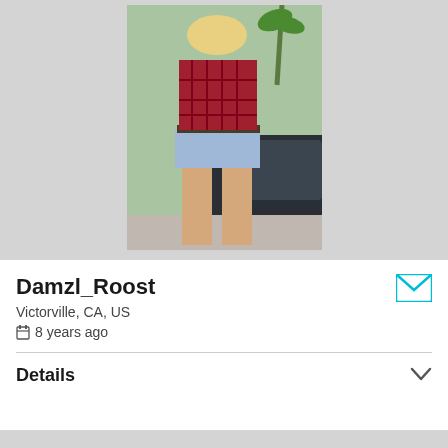[Figure (photo): Profile banner with gray background and a photo of a person wearing a red plaid shirt and denim shorts, standing next to a dark car outdoors.]
Damzl_Roost
Victorville, CA, US
8 years ago
Details